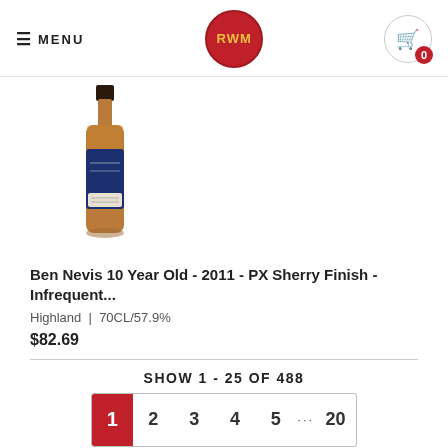MENU | RWM | Cart 0
[Figure (photo): A bottle of Ben Nevis 10 Year Old 2011 PX Sherry Finish whisky with a blue label and dark cap]
Ben Nevis 10 Year Old - 2011 - PX Sherry Finish - Infrequent...
Highland | 70CL/57.9%
$82.69
SHOW 1 - 25 OF 488
1 2 3 4 5 ... 20